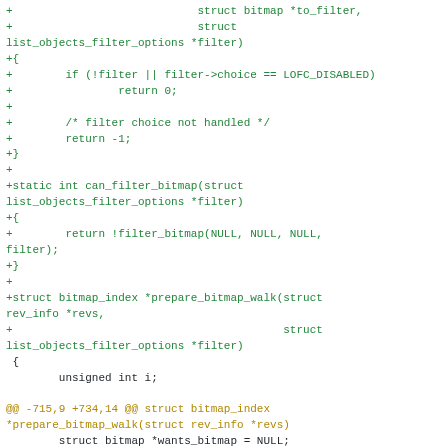[Figure (other): Git diff code snippet showing C source code with added lines (green, prefixed with +) and a diff hunk header (orange). Code includes filter_bitmap function body, can_filter_bitmap static function, prepare_bitmap_walk function signature, and a diff hunk marker followed by black context lines.]